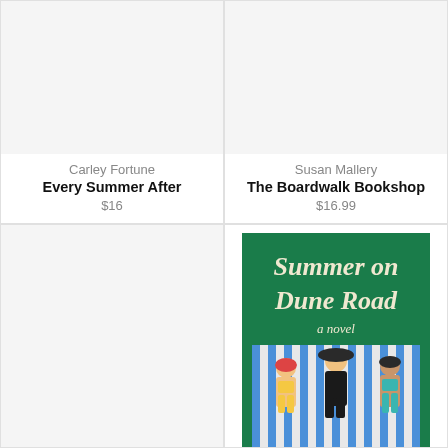[Figure (illustration): Book cover placeholder (light gray rectangle) for Every Summer After by Carley Fortune]
Carley Fortune
Every Summer After
$16
[Figure (illustration): Book cover placeholder (light gray rectangle) for The Boardwalk Bookshop by Susan Mallery]
Susan Mallery
The Boardwalk Bookshop
$16.99
[Figure (illustration): Book cover placeholder (light gray rectangle) for a fourth book, partially visible]
[Figure (illustration): Book cover for 'Summer on Dune Road: a novel' — green background with three women sunbathing on striped beach chairs]